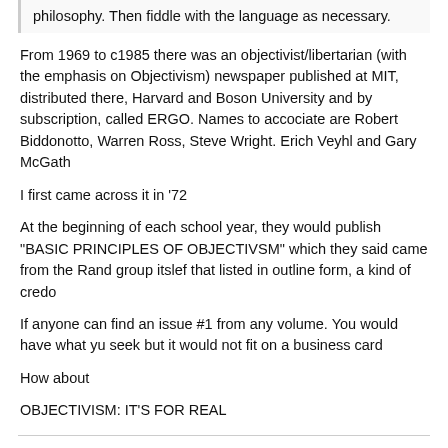philosophy. Then fiddle with the language as necessary.
From 1969 to c1985 there was an objectivist/libertarian (with the emphasis on Objectivism) newspaper published at MIT, distributed there, Harvard and Boson University and by subscription, called ERGO. Names to accociate are Robert Biddonotto, Warren Ross, Steve Wright. Erich Veyhl and Gary McGath
I first came across it in '72
At the beginning of each school year, they would publish "BASIC PRINCIPLES OF OBJECTIVSM" which they said came from the Rand group itslef that listed in outline form, a kind of credo
If anyone can find an issue #1 from any volume. You would have what yu seek but it would not fit on a business card
How about
OBJECTIVISM: IT'S FOR REAL